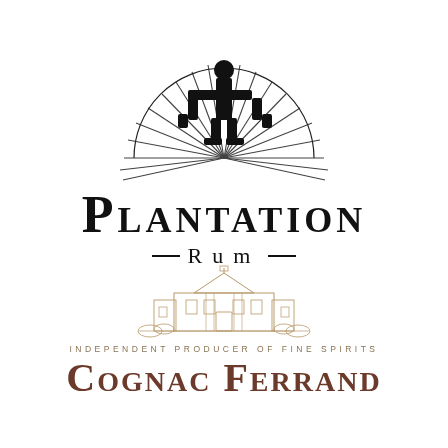[Figure (logo): Plantation Rum logo: stylized human figure with sun rays radiating behind it, above the text PLANTATION in large serif capitals and RUM with dashes on either side]
[Figure (logo): Cognac Ferrand logo: detailed line-art illustration of a French chateau/manor house, with tagline 'INDEPENDENT PRODUCER OF FINE SPIRITS' and 'COGNAC FERRAND' in large brown serif small-caps]